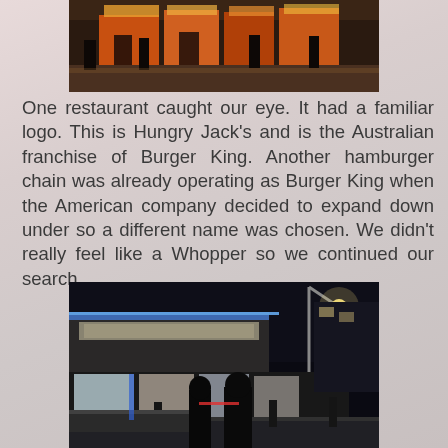[Figure (photo): Street scene showing storefronts with colorful signs, people walking along a commercial street at night or evening]
One restaurant caught our eye.  It had a familiar logo.  This is Hungry Jack's and is the Australian franchise of Burger King.  Another hamburger chain was already operating as Burger King when the American company decided to expand down under so a different name was chosen.  We didn't really feel like a Whopper so we continued our search.
[Figure (photo): Night scene of a shopping street or mall area with illuminated storefronts, a modern street lamp, and people sitting and walking in the foreground]